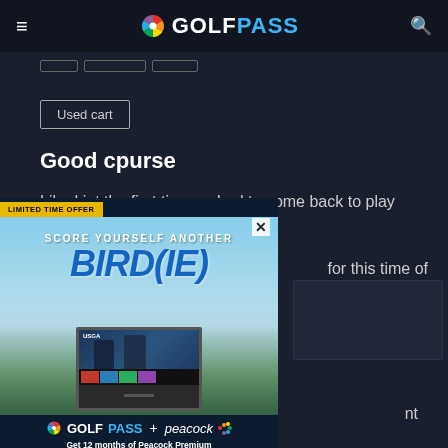GOLFPASS
[Figure (screenshot): Filter tabs row with three tab buttons]
Used cart
Good cpurse
Liked iot the first time so had to come back to play   for this time of
[Figure (advertisement): GolfPass+ promotional ad overlay. LIMITED TIME OFFER. SCORE YOURSELF ANOTHER BIRD(IE). Get 12 months of Peacock Premium when you join GolfPass+. NBC GolfPass + peacock logos. TV screen showing USGA content with golfer silhouettes. JOIN NOW button. $4.99/mo va ue. Eligibility restrictions and terms apply.]